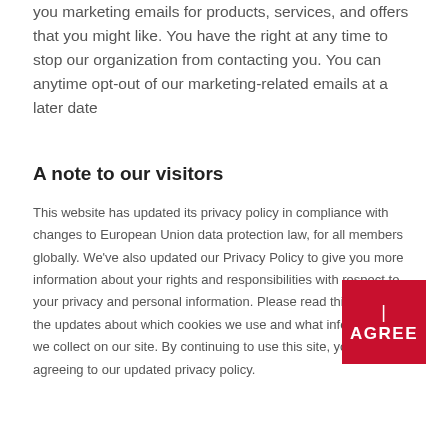you marketing emails for products, services, and offers that you might like. You have the right at any time to stop our organization from contacting you. You can anytime opt-out of our marketing-related emails at a later date
A note to our visitors
This website has updated its privacy policy in compliance with changes to European Union data protection law, for all members globally. We've also updated our Privacy Policy to give you more information about your rights and responsibilities with respect to your privacy and personal information. Please read this to review the updates about which cookies we use and what information we collect on our site. By continuing to use this site, you are agreeing to our updated privacy policy.